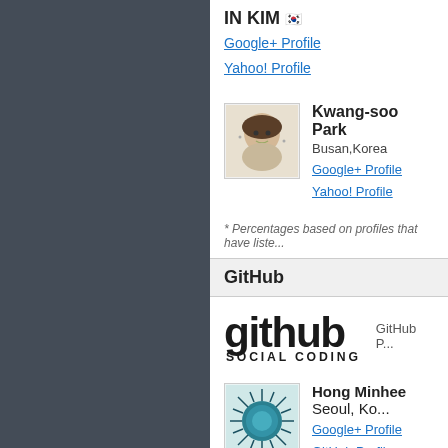IN KIM 김인
Google+ Profile
Yahoo! Profile
Kwang-soo Park
Busan,Korea
Google+ Profile
Yahoo! Profile
* Percentages based on profiles that have liste...
GitHub
[Figure (logo): GitHub Social Coding logo with 'github' in large bold text and 'SOCIAL CODING' beneath]
GitHub P...
Hong Minhee Seoul, Ko...
Google+ Profile
GitHub Profile